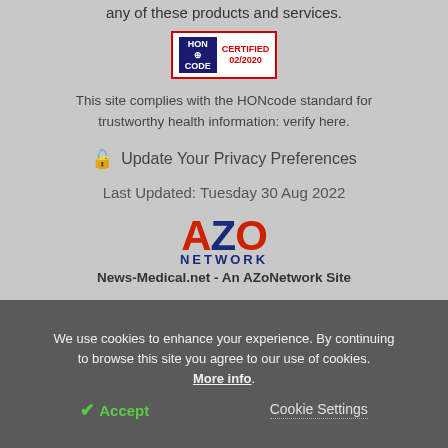any of these products and services.
[Figure (logo): HONcode certified 02/2020 badge with red border, blue HON logo on left and red CERTIFIED 02/2020 text on right]
This site complies with the HONcode standard for trustworthy health information: verify here.
Update Your Privacy Preferences
Last Updated: Tuesday 30 Aug 2022
[Figure (logo): AZO Network logo with red A, blue Z, red O and blue NETWORK text beneath]
News-Medical.net - An AZoNetwork Site
We use cookies to enhance your experience. By continuing to browse this site you agree to our use of cookies. More info.
✓ Accept
Cookie Settings